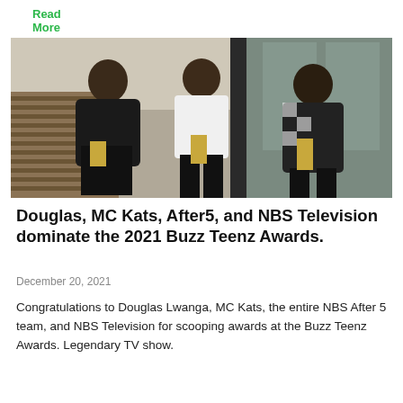Read More »
[Figure (photo): Three men sitting outdoors holding awards/trophies. Left man wears a black leather jacket with sunglasses, center man in white t-shirt and black pants, right man in black and white checkered jacket. Background shows wooden slat structure and glass doors.]
Douglas, MC Kats, After5, and NBS Television dominate the 2021 Buzz Teenz Awards.
December 20, 2021
Congratulations to Douglas Lwanga, MC Kats, the entire NBS After 5 team, and NBS Television for scooping awards at the Buzz Teenz Awards. Legendary TV show.